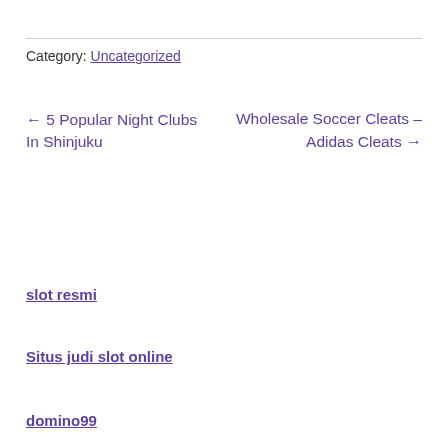Category: Uncategorized
← 5 Popular Night Clubs In Shinjuku
Wholesale Soccer Cleats – Adidas Cleats →
slot resmi
Situs judi slot online
domino99